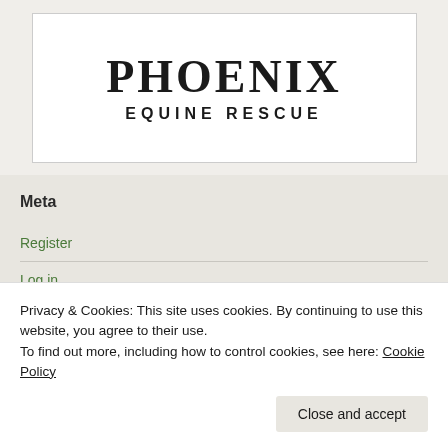[Figure (logo): Phoenix Equine Rescue logo with large serif PHOENIX text and smaller sans-serif EQUINE RESCUE text below, inside a white bordered box]
Meta
Register
Log in
Privacy & Cookies: This site uses cookies. By continuing to use this website, you agree to their use.
To find out more, including how to control cookies, see here: Cookie Policy
Close and accept